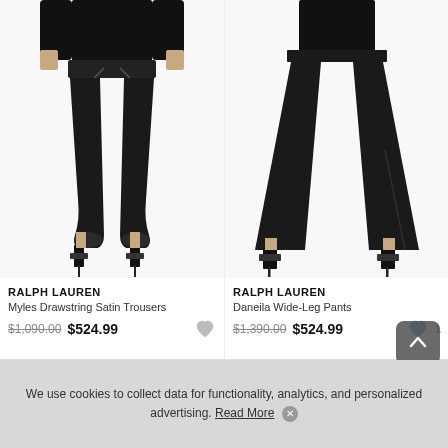[Figure (photo): Model wearing Ralph Lauren Myles Drawstring Satin Trousers in black, showing lower body with black heeled sandals]
[Figure (photo): Model wearing Ralph Lauren Daneila Wide-Leg Pants in black, showing lower body with black heeled sandals]
RALPH LAUREN
Myles Drawstring Satin Trousers
$1,090.00 $524.99
RALPH LAUREN
Daneila Wide-Leg Pants
$1,390.00 $524.99
We use cookies to collect data for functionality, analytics, and personalized advertising. Read More